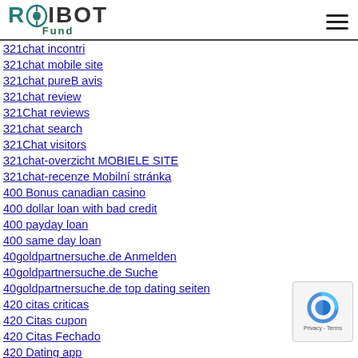ROIBOT Fund
321chat incontri
321chat mobile site
321chat pureB avis
321chat review
321Chat reviews
321chat search
321Chat visitors
321chat-overzicht MOBIELE SITE
321chat-recenze Mobilní stránka
400 Bonus canadian casino
400 dollar loan with bad credit
400 payday loan
400 same day loan
40goldpartnersuche.de Anmelden
40goldpartnersuche.de Suche
40goldpartnersuche.de top dating seiten
420 citas criticas
420 Citas cupon
420 Citas Fechado
420 Dating app
420 Dating app for
420 Dating apps
420 dating mobile site
420 Dating online
420 Dating quiero revision del sitio